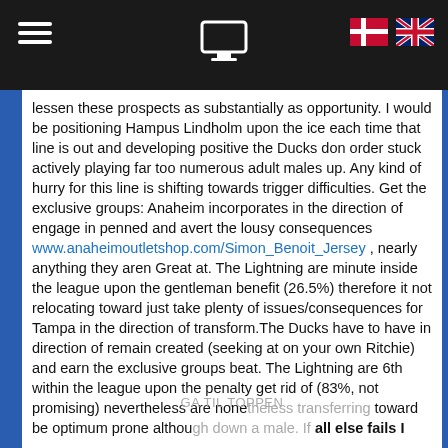Navigation header with hamburger menu, monitor icon, Danish flag, UK flag
lessen these prospects as substantially as opportunity. I would be positioning Hampus Lindholm upon the ice each time that line is out and developing positive the Ducks don order stuck actively playing far too numerous adult males up. Any kind of hurry for this line is shifting towards trigger difficulties. Get the exclusive groups: Anaheim incorporates in the direction of engage in penned and avert the lousy consequences www.anaheimoutletshop.com/Simon_Benoit_Jersey , nearly anything they aren Great at. The Lightning are minute inside the league upon the gentleman benefit (26.5%) therefore it not relocating toward just take plenty of issues/consequences for Tampa in the direction of transform.The Ducks have to have in direction of remain created (seeking at on your own Ritchie) and earn the exclusive groups beat. The Lightning are 6th within the league upon the penalty get rid of (83%, not promising) nevertheless are nonetheless transferring toward be optimum prone although down a male. If all else fails I